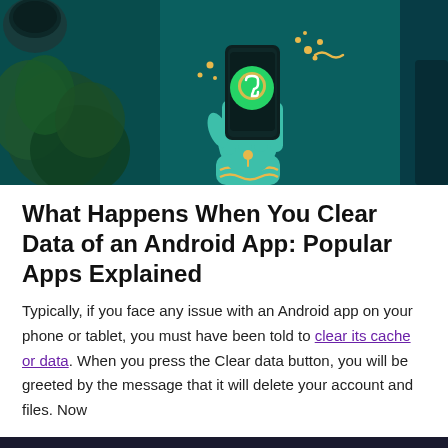[Figure (illustration): Hero image showing a teal/dark green background with a hand holding a smartphone displaying the WhatsApp logo in gold, surrounded by decorative gold dots and wave elements. A coffee cup and tropical plant are visible in the background on the left.]
What Happens When You Clear Data of an Android App: Popular Apps Explained
Typically, if you face any issue with an Android app on your phone or tablet, you must have been told to clear its cache or data. When you press the Clear data button, you will be greeted by the message that it will delete your account and files. Now
[Figure (photo): Bottom portion of a photo showing what appears to be a phone or device on a desk, partially visible, with a dark strip at top transitioning to a light grey area.]